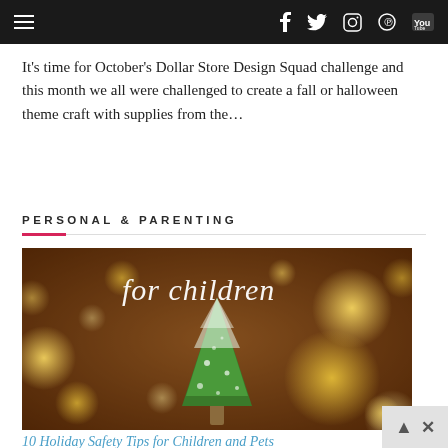≡  f  🐦  ◻  ⊕  Yt
It's time for October's Dollar Store Design Squad challenge and this month we all were challenged to create a fall or halloween theme craft with supplies from the...
PERSONAL & PARENTING
[Figure (photo): Bokeh holiday photo with a small green bottle brush Christmas tree in the center, glowing yellow bokeh circles in background, overlaid with white cursive text reading 'for children']
10 Holiday Safety Tips for Children and Pets